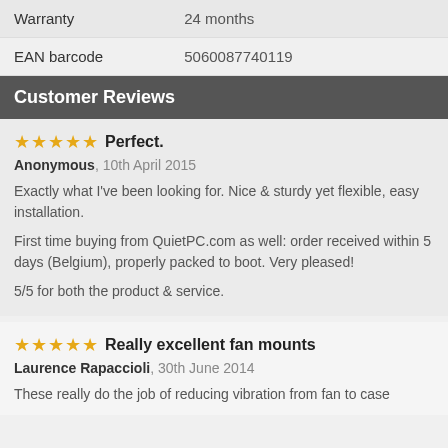| Warranty | 24 months |
| EAN barcode | 5060087740119 |
Customer Reviews
★★★★★ Perfect.
Anonymous, 10th April 2015
Exactly what I've been looking for. Nice & sturdy yet flexible, easy installation.

First time buying from QuietPC.com as well: order received within 5 days (Belgium), properly packed to boot. Very pleased!

5/5 for both the product & service.
★★★★★ Really excellent fan mounts
Laurence Rapaccioli, 30th June 2014
These really do the job of reducing vibration from fan to case